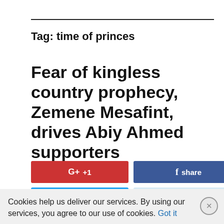Tag: time of princes
Fear of kingless country prophecy, Zemene Mesafint, drives Abiy Ahmed supporters
G+ +1  share  tweet  share
Cookies help us deliver our services. By using our services, you agree to our use of cookies. Got it